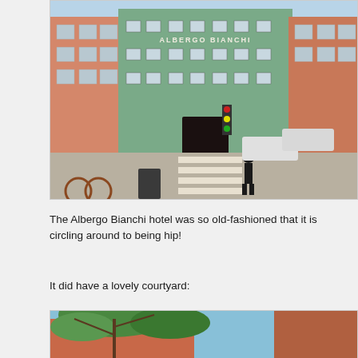[Figure (photo): Street view of Albergo Bianchi hotel facade — colorful buildings (salmon, green, salmon) with pedestrians and cars at an intersection/crosswalk]
The Albergo Bianchi hotel was so old-fashioned that it is circling around to being hip!
It did have a lovely courtyard:
[Figure (photo): Courtyard of Albergo Bianchi hotel with tree branches in foreground and colorful building walls visible behind]